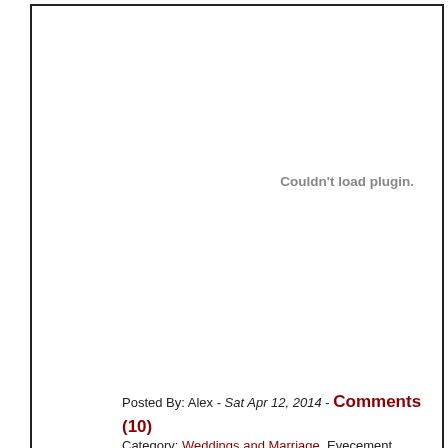[Figure (other): Plugin placeholder area with white background and 'Couldn't load plugin.' message displayed in gray on the right side]
Posted By: Alex - Sat Apr 12, 2014 - Comments (10)
Category: Weddings and Marriage, Evecement